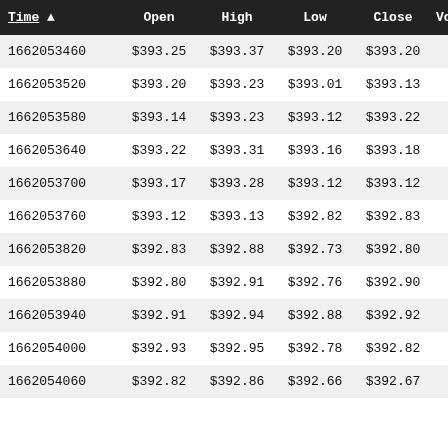| Time ▲ | Open | High | Low | Close | Volume | VWA |
| --- | --- | --- | --- | --- | --- | --- |
| 1662053460 | $393.25 | $393.37 | $393.20 | $393.20 | 0 | $393 |
| 1662053520 | $393.20 | $393.23 | $393.01 | $393.13 | 0 | $393 |
| 1662053580 | $393.14 | $393.23 | $393.12 | $393.22 | 0 | $393 |
| 1662053640 | $393.22 | $393.31 | $393.16 | $393.18 | 0 | $393 |
| 1662053700 | $393.17 | $393.28 | $393.12 | $393.12 | 0 | $393 |
| 1662053760 | $393.12 | $393.13 | $392.82 | $392.83 | 0 | $392 |
| 1662053820 | $392.83 | $392.88 | $392.73 | $392.80 | 0 | $392 |
| 1662053880 | $392.80 | $392.91 | $392.76 | $392.90 | 0 | $392 |
| 1662053940 | $392.91 | $392.94 | $392.88 | $392.92 | 0 | $392 |
| 1662054000 | $392.93 | $392.95 | $392.78 | $392.82 | 0 | $392 |
| 1662054060 | $392.82 | $392.86 | $392.66 | $392.67 | 0 | $392 |